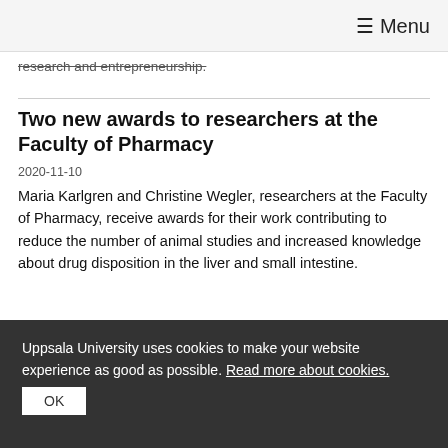≡ Menu
research and entrepreneurship.
Two new awards to researchers at the Faculty of Pharmacy
2020-11-10
Maria Karlgren and Christine Wegler, researchers at the Faculty of Pharmacy, receive awards for their work contributing to reduce the number of animal studies and increased knowledge about drug disposition in the liver and small intestine.
Swedish Research Council grants millions to
Uppsala University uses cookies to make your website experience as good as possible. Read more about cookies.